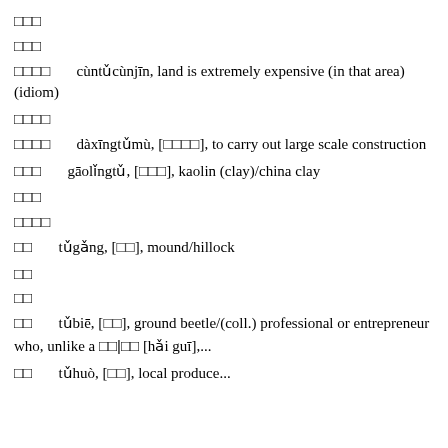寸土 (Chinese characters)
寸土 (Chinese characters)
寸土寸金 cùntǔcùnjīn, land is extremely expensive (in that area) (idiom)
大兴土木 (Chinese characters)
大兴土木 dàxīngtǔmù, [大興土木], to carry out large scale construction
高岭土 gāolǐngtǔ, [高嶺土], kaolin (clay)/china clay
土包子 (Chinese characters)
地方土 (Chinese characters)
土岗 tǔgǎng, [土崗], mound/hillock
土各 (Chinese characters)
土鳖 (Chinese characters)
土鳖 tǔbiē, [土鱉], ground beetle/(coll.) professional or entrepreneur who, unlike a 海归|海歸 [hǎi guī],...
土货 tǔhuò, [土貨], local produce...